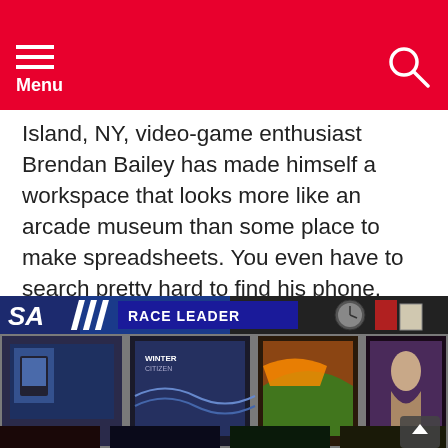Menu
Island, NY, video-game enthusiast Brendan Bailey has made himself a workspace that looks more like an arcade museum than some place to make spreadsheets. You even have to search pretty hard to find his phone. See more of his fantastic office here.
[Figure (photo): Photo of an office wall covered in arcade game posters and pinball machine flyers displayed in plastic sleeves on shelving units. At the top is a 'Race Leader' arcade marquee sign. Various game-related items including a clock and Wii items are visible on the shelf.]